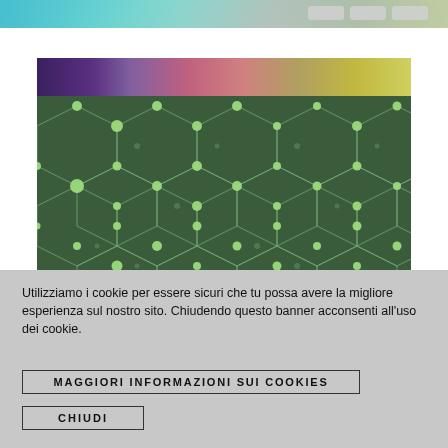[Figure (screenshot): Top navigation banner with colorful gradient background and navigation buttons]
[Figure (photo): Website banner image: top strip showing colorful microscopic/abstract imagery, bottom large panel showing dark green hexagonal network/lattice diagram with glowing green nodes]
Utilizziamo i cookie per essere sicuri che tu possa avere la migliore esperienza sul nostro sito. Chiudendo questo banner acconsenti all'uso dei cookie.
MAGGIORI INFORMAZIONI SUI COOKIES
CHIUDI